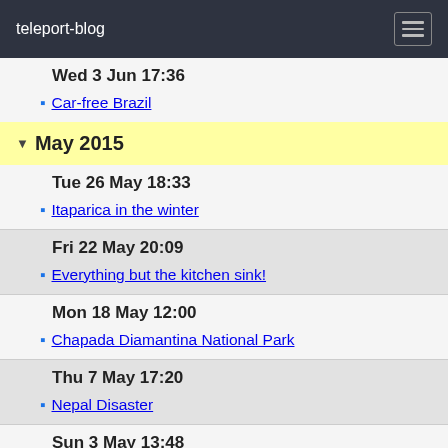teleport-blog
Wed 3 Jun 17:36
Car-free Brazil
May 2015
Tue 26 May 18:33
Itaparica in the winter
Fri 22 May 20:09
Everything but the kitchen sink!
Mon 18 May 12:00
Chapada Diamantina National Park
Thu 7 May 17:20
Nepal Disaster
Sun 3 May 13:48
Paddling in darkest Brazil
Fri 1 May 16:59
Escaped from the treacle